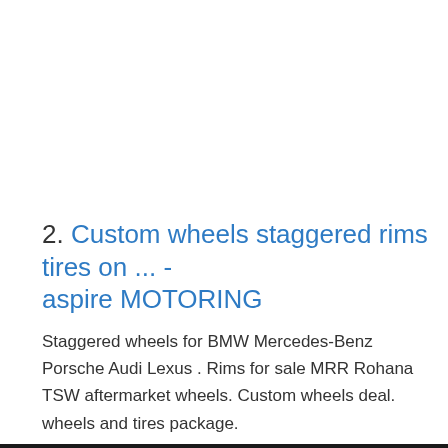2. Custom wheels staggered rims tires on ... - aspire MOTORING
Staggered wheels for BMW Mercedes-Benz Porsche Audi Lexus . Rims for sale MRR Rohana TSW aftermarket wheels. Custom wheels deal. wheels and tires package.